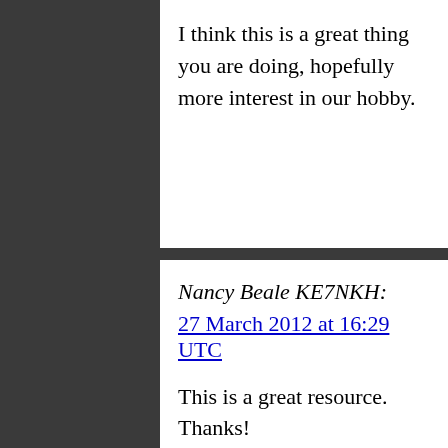I think this is a great thing you are doing, hopefully more interest in our hobby.
Nancy Beale KE7NKH:
27 March 2012 at 16:29 UTC

This is a great resource. Thanks!
Mel' N7OKL:
27 March 2012 at 16:53 UTC

You have some interesting things on here….

need to stop by more often…..if I only had the time